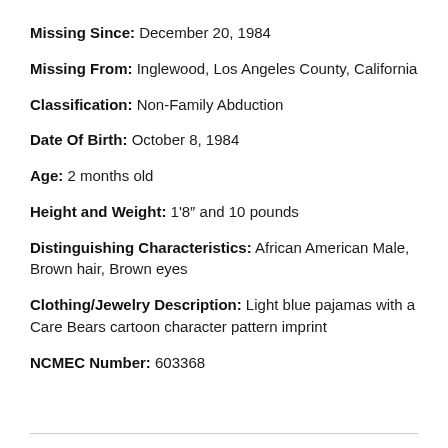Missing Since: December 20, 1984
Missing From: Inglewood, Los Angeles County, California
Classification: Non-Family Abduction
Date Of Birth: October 8, 1984
Age: 2 months old
Height and Weight: 1'8" and 10 pounds
Distinguishing Characteristics: African American Male, Brown hair, Brown eyes
Clothing/Jewelry Description: Light blue pajamas with a Care Bears cartoon character pattern imprint
NCMEC Number: 603368